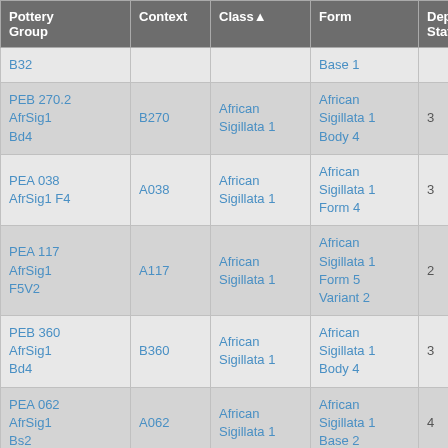| Pottery Group | Context | Class▲ | Form | Depos Status | R Ct | R EV |
| --- | --- | --- | --- | --- | --- | --- |
| B32 |  |  | Base 1 |  |  |  |
| PEB 270.2 AfrSig1 Bd4 | B270 | African Sigillata 1 | African Sigillata 1 Body 4 | 3 |  |  |
| PEA 038 AfrSig1 F4 | A038 | African Sigillata 1 | African Sigillata 1 Form 4 | 3 | 1 | 1 |
| PEA 117 AfrSig1 F5V2 | A117 | African Sigillata 1 | African Sigillata 1 Form 5 Variant 2 | 2 | 1 | 1 |
| PEB 360 AfrSig1 Bd4 | B360 | African Sigillata 1 | African Sigillata 1 Body 4 | 3 |  |  |
| PEA 062 AfrSig1 Bs2 | A062 | African Sigillata 1 | African Sigillata 1 Base 2 | 4 |  |  |
| PEA 020 AfrSig1 Bs2 | A020 | African Sigillata 1 | African Sigillata 1 Base 2 | 4 |  |  |